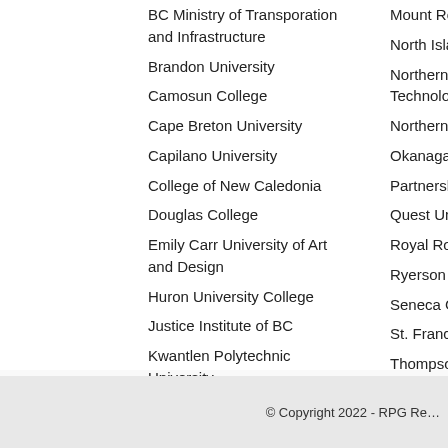BC Ministry of Transporation and Infrastructure
Brandon University
Camosun College
Cape Breton University
Capilano University
College of New Caledonia
Douglas College
Emily Carr University of Art and Design
Huron University College
Justice Institute of BC
Kwantlen Polytechnic University
Lethbridge College
Loyalist College
Mount Roy…
North Islan…
Northern A… Technolog…
Northern L…
Okanagan…
Partnershi…
Quest Uni…
Royal Roa…
Ryerson U…
Seneca Co…
St. Francis…
Thompson…
UBC Prope…
© Copyright 2022 - RPG Re…